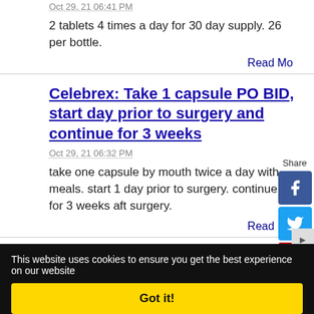Oct 29, 21 06:41 PM
2 tablets 4 times a day for 30 day supply. 26 per bottle.
Read More
Celebrex: Take 1 capsule PO BID, start day prior to surgery and continue for 3 weeks
Oct 29, 21 06:32 PM
take one capsule by mouth twice a day with meals. start 1 day prior to surgery. continue for 3 weeks after surgery.
Read More
This website uses cookies to ensure you get the best experience on our website
Got it!